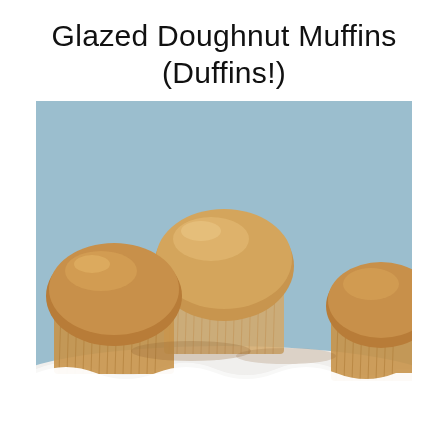Glazed Doughnut Muffins (Duffins!)
[Figure (photo): Close-up photograph of glazed doughnut muffins (duffins) in paper cupcake liners, piled on a white plate against a soft blue background. The muffins are coated in a shiny caramel-colored glaze.]